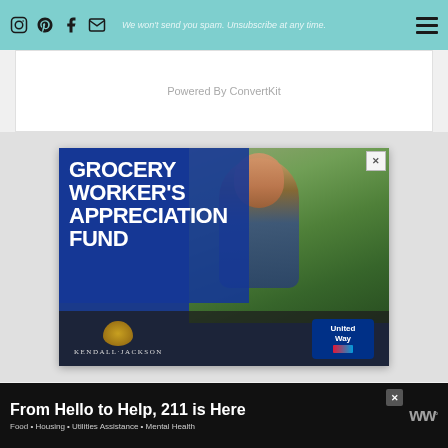Social media icons: Instagram, Pinterest, Facebook, Email | We won't send you spam. Unsubscribe at any time. | Hamburger menu
Powered By ConvertKit
[Figure (photo): Advertisement for Grocery Worker's Appreciation Fund featuring a smiling grocery worker in a store produce section, with Kendall-Jackson and United Way logos at the bottom]
[Figure (infographic): Bottom banner advertisement: From Hello to Help, 211 is Here - Food · Housing · Utilities Assistance · Mental Health]